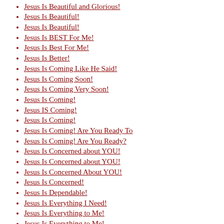Jesus Is Awesome!
Jesus Is Beautiful and Glorious!
Jesus Is Beautiful!
Jesus Is Beautiful!
Jesus Is BEST For Me!
Jesus Is Best For Me!
Jesus Is Better!
Jesus Is Coming Like He Said!
Jesus Is Coming Soon!
Jesus Is Coming Very Soon!
Jesus Is Coming!
Jesus IS Coming!
Jesus Is Coming!
Jesus Is Coming! Are You Ready To
Jesus Is Coming! Are You Ready?
Jesus Is Concerned about YOU!
Jesus Is Concerned about YOU!
Jesus Is Concerned About YOU!
Jesus Is Concerned!
Jesus Is Dependable!
Jesus Is Everything I Need!
Jesus Is Everything to Me!
Jesus Is Everything to Me!
Jesus Is Everything To Me!
Jesus Is Everything To Me!
Jesus Is EVERYTHING To Me!
Jesus Is Everything You Need and MO
Jesus Is Everything!
Jesus Is everything!
Jesus Is Faithful!